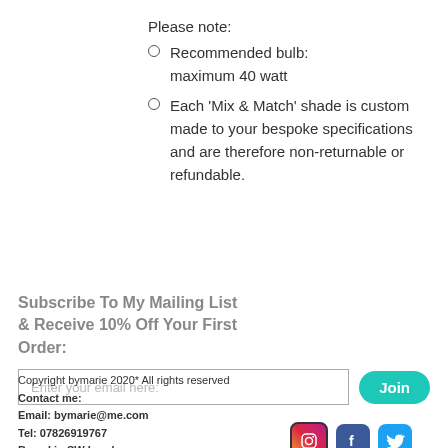Please note:
Recommended bulb: maximum 40 watt
Each 'Mix & Match' shade is custom made to your bespoke specifications and are therefore non-returnable or refundable.
Subscribe To My Mailing List & Receive 10% Off Your First Order:
Enter your email here: [Join]
Copyright bymarie 2020* All rights reserved
Contact me:
Email: bymarie@me.com
Tel: 07826919767
Based in SW London